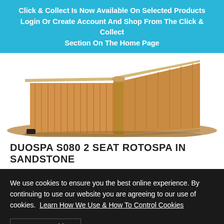Click & Collect Is Now Available On Selected Products Login Or Create Account And Shop From The Click & Collect Section On The Home Page
[Figure (photo): A close-up photo of a corner of a DUOSPA S080 2 Seat Rotospa hot tub in sandstone color, showing wooden panel siding with rounded corners and a beige/tan surround.]
DUOSPA S080 2 SEAT ROTOSPA IN SANDSTONE
We use cookies to ensure you the best online experience. By continuing to use our website you are agreeing to our use of cookies.  Learn How We Use & How To Control Cookies
Accept Cookies